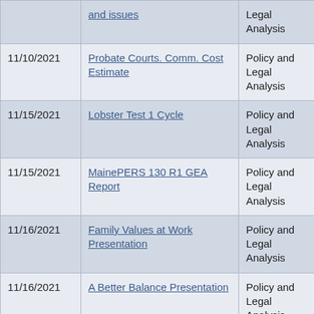| Date | Document | Category |
| --- | --- | --- |
|  | and issues | Legal Analysis |
| 11/10/2021 | Probate Courts. Comm. Cost Estimate | Policy and Legal Analysis |
| 11/15/2021 | Lobster Test 1 Cycle | Policy and Legal Analysis |
| 11/15/2021 | MainePERS 130 R1 GEA Report | Policy and Legal Analysis |
| 11/16/2021 | Family Values at Work Presentation | Policy and Legal Analysis |
| 11/16/2021 | A Better Balance Presentation | Policy and Legal Analysis |
| 11/16/2021 | EUT Meeting Agenda | Policy and |